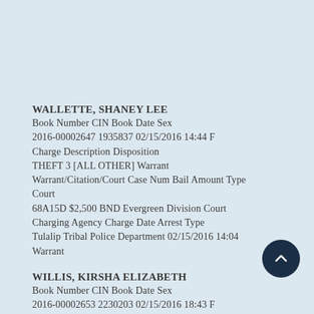WALLETTE, SHANEY LEE
Book Number CIN Book Date Sex
2016-00002647 1935837 02/15/2016 14:44 F
Charge Description Disposition
THEFT 3 [ALL OTHER] Warrant
Warrant/Citation/Court Case Num Bail Amount Type Court
68A15D $2,500 BND Evergreen Division Court
Charging Agency Charge Date Arrest Type
Tulalip Tribal Police Department 02/15/2016 14:04 Warrant
WILLIS, KIRSHA ELIZABETH
Book Number CIN Book Date Sex
2016-00002653 2230203 02/15/2016 18:43 F